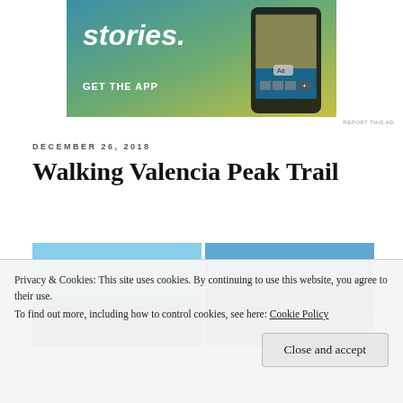[Figure (screenshot): App advertisement banner with gradient background (teal to yellow-green). Text reads 'stories.' and 'GET THE APP' with a smartphone image on the right.]
REPORT THIS AD
DECEMBER 26, 2018
Walking Valencia Peak Trail
[Figure (photo): Two landscape photos side by side showing coastal scenery. Left: rolling green hills meeting the Pacific Ocean under a clear blue sky. Right: rocky coastal cliffs with crashing waves and blue ocean.]
Privacy & Cookies: This site uses cookies. By continuing to use this website, you agree to their use.
To find out more, including how to control cookies, see here: Cookie Policy
[Figure (photo): Two photos partially visible at bottom. Left: trail/dirt path. Right: yellow wildflowers on green hillside.]